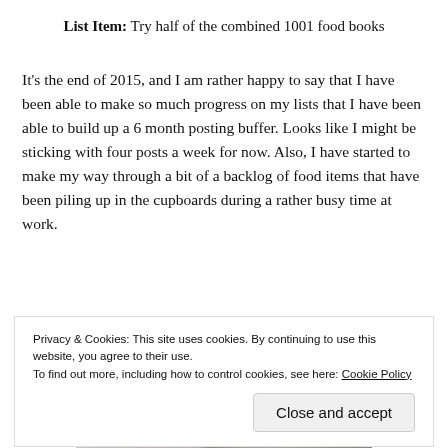List Item: Try half of the combined 1001 food books
It's the end of 2015, and I am rather happy to say that I have been able to make so much progress on my lists that I have been able to build up a 6 month posting buffer. Looks like I might be sticking with four posts a week for now. Also, I have started to make my way through a bit of a backlog of food items that have been piling up in the cupboards during a rather busy time at work.
[Figure (photo): Photograph of a dark book or food item on a light background]
Privacy & Cookies: This site uses cookies. By continuing to use this website, you agree to their use. To find out more, including how to control cookies, see here: Cookie Policy
Close and accept